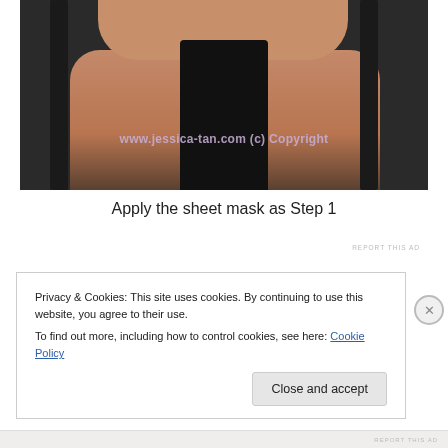[Figure (photo): Close-up photo of a person wearing a black tank top, showing neck and chest area. Watermark text reads 'www.jessica-tan.com (c) Copyright' in pink/lavender text across the image.]
Apply the sheet mask as Step 1
REPORT THIS AD
Privacy & Cookies: This site uses cookies. By continuing to use this website, you agree to their use.
To find out more, including how to control cookies, see here: Cookie Policy
Close and accept